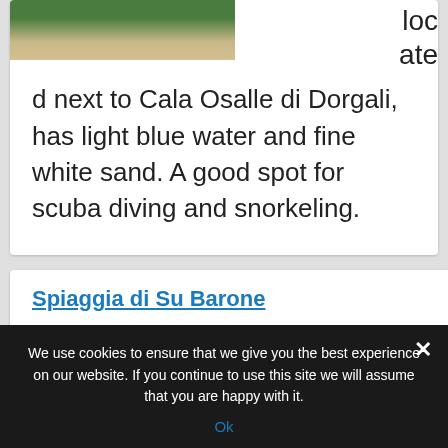[Figure (photo): Aerial or elevated view of a beach with green vegetation and light sand]
located next to Cala Osalle di Dorgali, has light blue water and fine white sand. A good spot for scuba diving and snorkeling.
Spiaggia di Su Barone
✓ Length: 7000 meters.
We use cookies to ensure that we give you the best experience on our website. If you continue to use this site we will assume that you are happy with it.
Ok